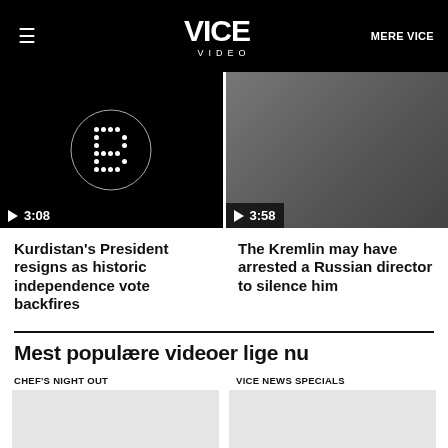VICE VIDEO | MERE VICE
[Figure (screenshot): Video thumbnail showing pixelated B logo on dark background with play button and duration 3:08]
[Figure (screenshot): Video thumbnail showing a man smiling in a dark red jacket with play button and duration 3:58]
Kurdistan's President resigns as historic independence vote backfires
The Kremlin may have arrested a Russian director to silence him
Mest populære videoer lige nu
CHEF'S NIGHT OUT
VICE NEWS SPECIALS
[Figure (screenshot): Video thumbnail placeholder (light gray)]
[Figure (screenshot): Video thumbnail placeholder (light gray)]